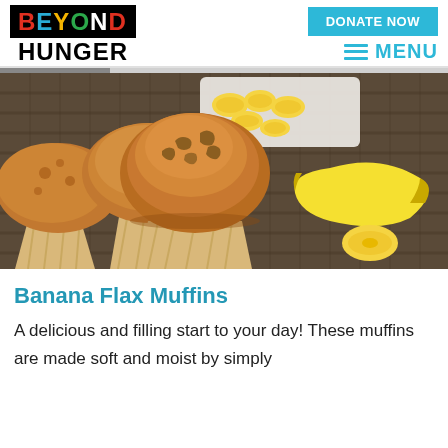BEYOND HUNGER | DONATE NOW | MENU
[Figure (photo): Close-up photograph of three banana walnut muffins in paper cups on a woven mat, with sliced bananas in a white dish and a whole banana in the background.]
Banana Flax Muffins
A delicious and filling start to your day! These muffins are made soft and moist by simply